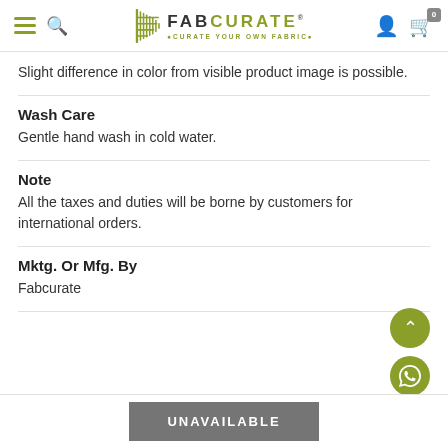FabCurate - Curate Your Own Fabric
Slight difference in color from visible product image is possible.
Wash Care
Gentle hand wash in cold water.
Note
All the taxes and duties will be borne by customers for international orders.
Mktg. Or Mfg. By
Fabcurate
UNAVAILABLE